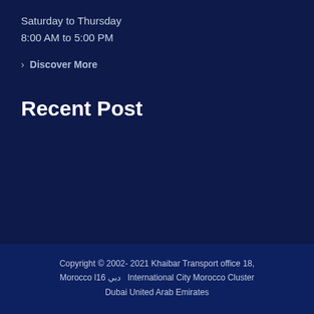Saturday to Thursday
8:00 AM to 5:00 PM
> Discover More
Recent Post
Copyright © 2002- 2021 Khaibar Transport office 18, Morocco l16 دبي  International City Morocco Cluster Dubai United Arab Emirates